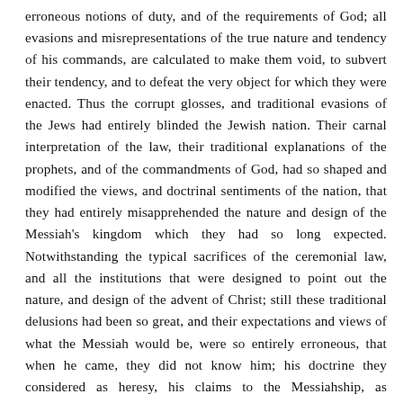erroneous notions of duty, and of the requirements of God; all evasions and misrepresentations of the true nature and tendency of his commands, are calculated to make them void, to subvert their tendency, and to defeat the very object for which they were enacted. Thus the corrupt glosses, and traditional evasions of the Jews had entirely blinded the Jewish nation. Their carnal interpretation of the law, their traditional explanations of the prophets, and of the commandments of God, had so shaped and modified the views, and doctrinal sentiments of the nation, that they had entirely misapprehended the nature and design of the Messiah's kingdom which they had so long expected. Notwithstanding the typical sacrifices of the ceremonial law, and all the institutions that were designed to point out the nature, and design of the advent of Christ; still these traditional delusions had been so great, and their expectations and views of what the Messiah would be, were so entirely erroneous, that when he came, they did not know him; his doctrine they considered as heresy, his claims to the Messiahship, as blasphemous. Hence the nation rose